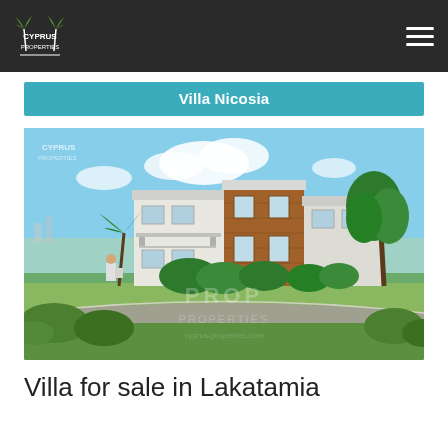Cyprus Properties
Villa Nicosia
[Figure (photo): Exterior rendering of a modern two-storey villa with wood cladding accent, flat roof, balconies, surrounded by lush green trees and palm trees, with a city view in the background and green grass in the foreground. Cyprus Properties watermark visible.]
Villa for sale in Lakatamia